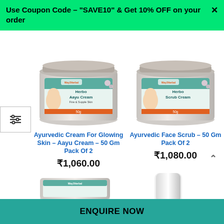Use Coupon Code – "SAVE10" & Get 10% OFF on your order
[Figure (photo): Jar of Way2Herbal Herbo Aayu Cream 50g with woman's face on label]
Ayurvedic Cream For Glowing Skin – Aayu Cream – 50 Gm Pack Of 2
₹1,060.00
[Figure (photo): Jar of Way2Herbal Herbo Scrub Cream 50g with woman's face on label]
Ayurvedic Face Scrub – 50 Gm Pack Of 2
₹1,080.00
[Figure (photo): Partial view of another Way2Herbal cream product at bottom left]
[Figure (photo): Partial view of another Way2Herbal product at bottom right]
ENQUIRE NOW